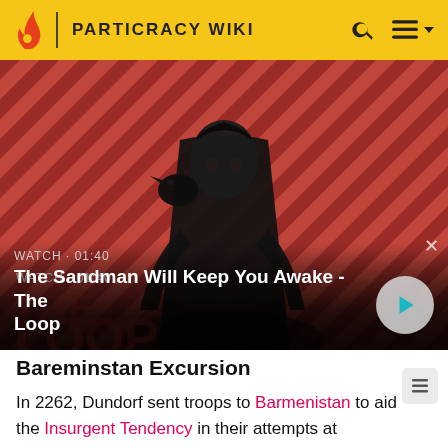PARTICRACY WIKI
[Figure (screenshot): Video thumbnail showing a dark-cloaked figure with a raven on shoulder against a red and black diagonal stripe background. Text overlay: WATCH • 01:40 / The Sandman Will Keep You Awake - The Loop]
WATCH • 01:40 — The Sandman Will Keep You Awake - The Loop
Bareminstan Excursion
In 2262, Dundorf sent troops to Barmenistan to aid the Insurgent Tendency in their attempts at Aotearoan independence. They withdrew in 2270 after a major military defeat.